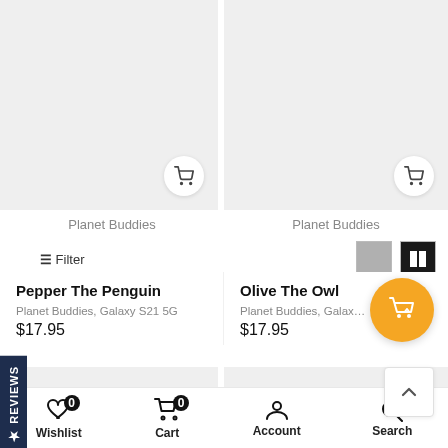[Figure (screenshot): E-commerce product listing page showing Planet Buddies products (Pepper The Penguin and Olive The Owl) with cart buttons, filter bar, prices at $17.95, and orange floating cart button]
Planet Buddies
Planet Buddies
Filter
Pepper The Penguin
Olive The Owl
Planet Buddies, Galaxy S21 5G
Planet Buddies, Galax…
$17.95
$17.95
Wishlist  Cart  Account  Search